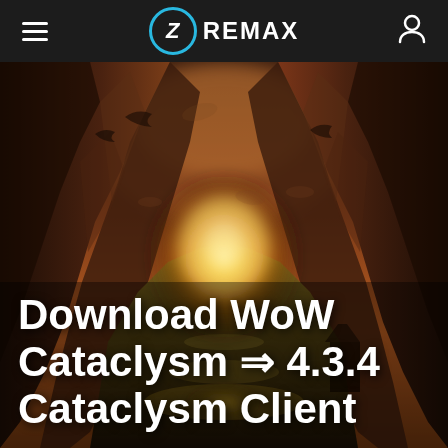ZREMAX
[Figure (illustration): Fantasy game art showing a dramatic canyon scene with fire and glowing light in the center, dark rocky cliffs on both sides, World of Warcraft Cataclysm art style with warm orange and yellow tones]
Download WoW Cataclysm ⇒ 4.3.4 Cataclysm Client